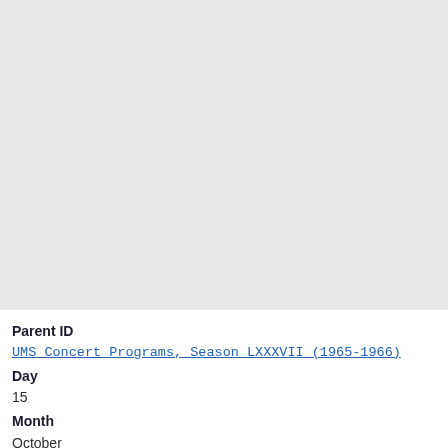[Figure (other): Large light gray placeholder image area occupying the top portion of the page]
Parent ID
UMS Concert Programs, Season LXXXVII (1965-1966)
Day
15
Month
October